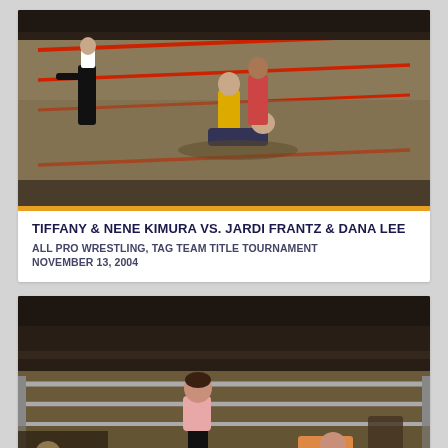[Figure (photo): Wrestling match photo showing referee and wrestlers in a ring with red ropes, one wrestler pinning another, crowd visible in background]
TIFFANY & NENE KIMURA VS. JARDI FRANTZ & DANA LEE
ALL PRO WRESTLING, TAG TEAM TITLE TOURNAMENT
NOVEMBER 13, 2004
[Figure (photo): Wrestling match photo showing wrestlers in a ring with silver ropes, audience visible in background seats]